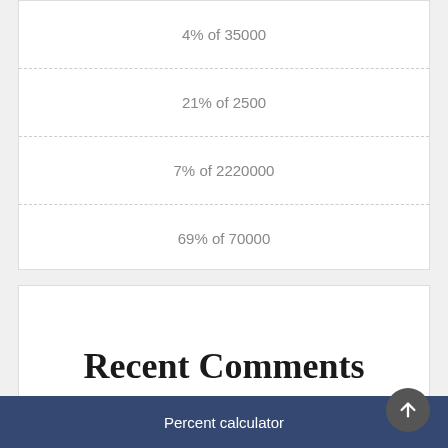4% of 35000
21% of 2500
7% of 2220000
69% of 70000
Recent Comments
No comments to show.
Percent calculator